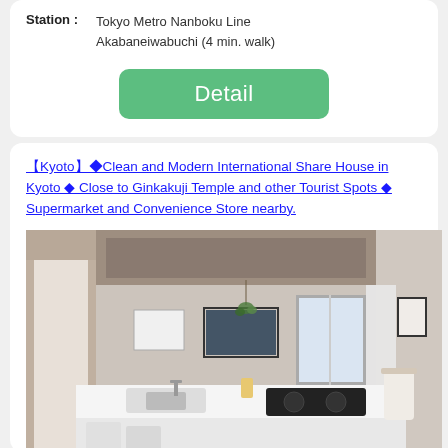Station : Tokyo Metro Nanboku Line Akabaneiwabuchi (4 min. walk)
Detail
【Kyoto】◆Clean and Modern International Share House in Kyoto ◆ Close to Ginkakuji Temple and other Tourist Spots ◆ Supermarket and Convenience Store nearby.
[Figure (photo): Interior photo of a modern shared house kitchen with white countertops, sink, induction cooktop, and open living area in the background]
Share House (Private Room)